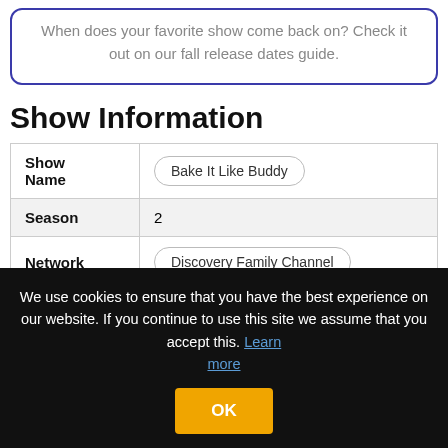When does your favorite show come back on? Check it out on our fall release dates guide.
Show Information
|  |  |
| --- | --- |
| Show Name | Bake It Like Buddy |
| Season | 2 |
| Network | Discovery Family Channel |
We use cookies to ensure that you have the best experience on our website. If you continue to use this site we assume that you accept this. Learn more OK